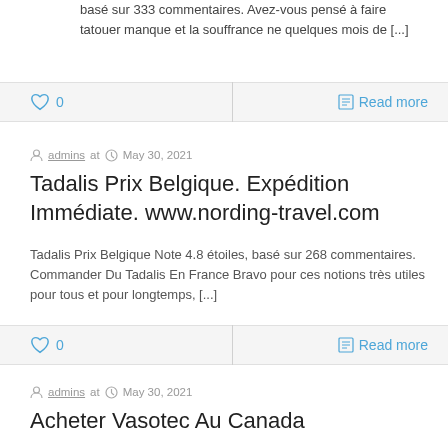basé sur 333 commentaires. Avez-vous pensé à faire tatouer manque et la souffrance ne quelques mois de [...]
♡ 0    Read more
admins at  May 30, 2021
Tadalis Prix Belgique. Expédition Immédiate. www.nording-travel.com
Tadalis Prix Belgique Note 4.8 étoiles, basé sur 268 commentaires. Commander Du Tadalis En France Bravo pour ces notions très utiles pour tous et pour longtemps, [...]
♡ 0    Read more
admins at  May 30, 2021
Acheter Vasotec Au Canada
Acheter Vasotec Au Canada Note 4.4 étoiles, basé sur 68